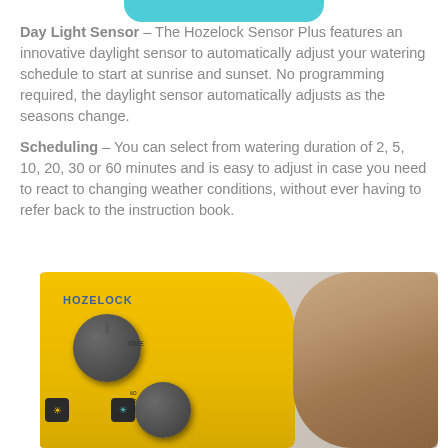[Figure (other): Partial view of a teal/cyan rounded button or banner at the top of the page]
Day Light Sensor – The Hozelock Sensor Plus features an innovative daylight sensor to automatically adjust your watering schedule to start at sunrise and sunset. No programming required, the daylight sensor automatically adjusts as the seasons change.
Scheduling – You can select from watering duration of 2, 5, 10, 20, 30 or 60 minutes and is easy to adjust in case you need to react to changing weather conditions, without ever having to refer back to the instruction book.
[Figure (photo): Photo of a yellow Hozelock Sensor Plus watering timer device with two grey rotary knobs, small control buttons, and a hand visible on the right side of the image]